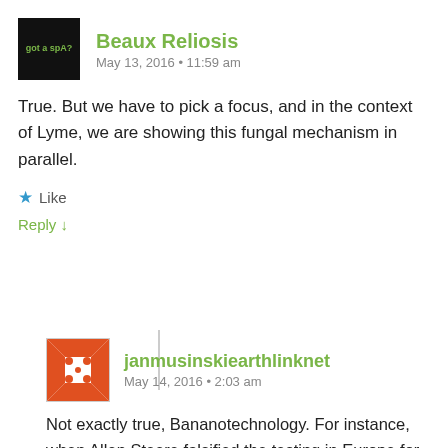Beaux Reliosis
May 13, 2016 • 11:59 am
True. But we have to pick a focus, and in the context of Lyme, we are showing this fungal mechanism in parallel.
Like
Reply ↓
janmusinskiearthlinknet
May 14, 2016 • 2:03 am
Not exactly true, Bananotechnology. For instance, when Allen Steere falsified the testing in Europe for the "CHANGED?!" (Blumenthal's staff) Dearborn "case definition," he knew to leave the lipids off the OspA and B proteins, since without them, OspA/B are not immunogenic and wont produce much in the way of antibodies. So, obviously these criminals